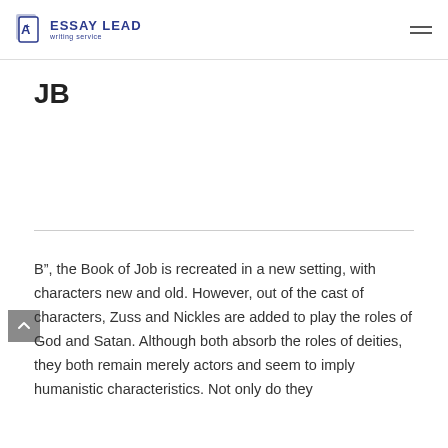ESSAY LEAD writing service
JB
B”, the Book of Job is recreated in a new setting, with characters new and old. However, out of the cast of characters, Zuss and Nickles are added to play the roles of God and Satan. Although both absorb the roles of deities, they both remain merely actors and seem to imply humanistic characteristics. Not only do they